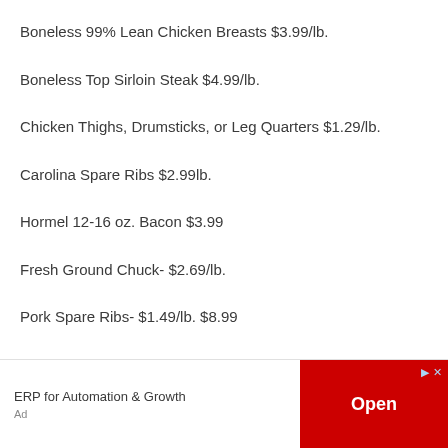Boneless 99% Lean Chicken Breasts $3.99/lb.
Boneless Top Sirloin Steak $4.99/lb.
Chicken Thighs, Drumsticks, or Leg Quarters $1.29/lb.
Carolina Spare Ribs $2.99lb.
Hormel 12-16 oz. Bacon $3.99
Fresh Ground Chuck- $2.69/lb.
Pork Spare Ribs- $1.49/lb. $8.99
T-Bone OR Boneless New York Strip Steak- $9.99/lb.